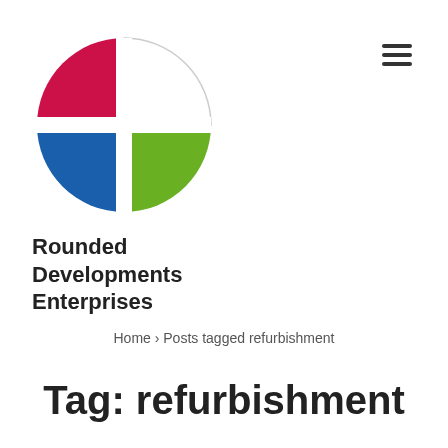[Figure (logo): Rounded Developments Enterprises logo: a circle divided into four quadrants — top-left is crimson/red, top-right is white with grey border, bottom-left is blue, bottom-right is green. A white cross divides the circle.]
Rounded Developments Enterprises
Home › Posts tagged refurbishment
Tag: refurbishment